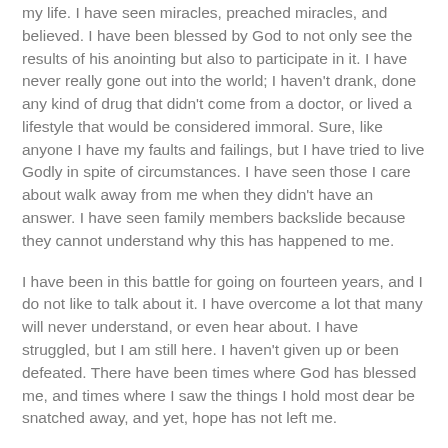my life. I have seen miracles, preached miracles, and believed. I have been blessed by God to not only see the results of his anointing but also to participate in it. I have never really gone out into the world; I haven't drank, done any kind of drug that didn't come from a doctor, or lived a lifestyle that would be considered immoral. Sure, like anyone I have my faults and failings, but I have tried to live Godly in spite of circumstances. I have seen those I care about walk away from me when they didn't have an answer. I have seen family members backslide because they cannot understand why this has happened to me.
I have been in this battle for going on fourteen years, and I do not like to talk about it. I have overcome a lot that many will never understand, or even hear about. I have struggled, but I am still here. I haven't given up or been defeated. There have been times where God has blessed me, and times where I saw the things I hold most dear be snatched away, and yet, hope has not left me.
But today, my hope faltered. Today, I realized my vulnerability.